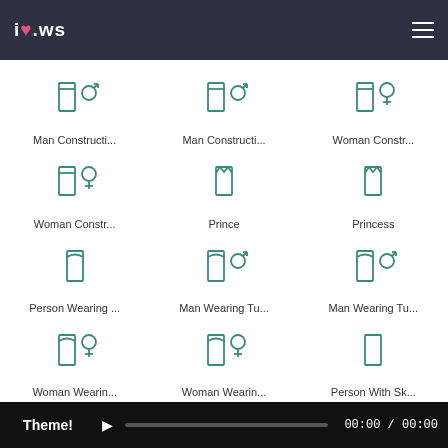i♥.ws
[Figure (illustration): Man Construction worker emoji icon with male symbol]
Man Constructi...
[Figure (illustration): Man Construction worker emoji icon with male symbol variant]
Man Constructi...
[Figure (illustration): Woman Construction worker emoji icon with female symbol]
Woman Constr...
[Figure (illustration): Woman Construction worker emoji icon with female symbol variant]
Woman Constr...
[Figure (illustration): Prince emoji icon]
Prince
[Figure (illustration): Princess emoji icon]
Princess
[Figure (illustration): Person Wearing Turban emoji icon]
Person Wearing ...
[Figure (illustration): Man Wearing Turban emoji icon with male symbol]
Man Wearing Tu...
[Figure (illustration): Man Wearing Turban emoji icon with male symbol variant]
Man Wearing Tu...
[Figure (illustration): Woman Wearing Turban emoji icon with female symbol]
Woman Wearin...
[Figure (illustration): Woman Wearing Turban emoji icon with female symbol variant]
Woman Wearin...
[Figure (illustration): Person With Skullcap emoji icon]
Person With Sk...
Theme! ▶ 00:00 / 00:00